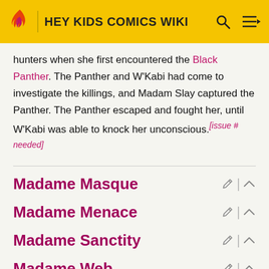HEY KIDS COMICS WIKI
hunters when she first encountered the Black Panther. The Panther and W'Kabi had come to investigate the killings, and Madam Slay captured the Panther. The Panther escaped and fought her, until W'Kabi was able to knock her unconscious.[issue # needed]
Madame Masque
Madame Menace
Madame Sanctity
Madame Web